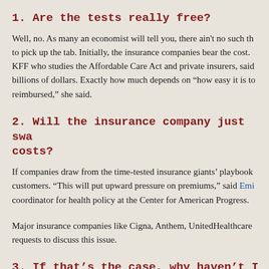1.  Are the tests really free?
Well, no. As many an economist will tell you, there ain't no such thing as a free lunch — someone has to pick up the tab. Initially, the insurance companies bear the cost. Gary Claxton, a fellow at KFF who studies the Affordable Care Act and private insurers, said the tab could easily run into the billions of dollars. Exactly how much depends on “how easy it is to get tests and how they get reimbursed,” she said.
2.  Will the insurance company just swa… costs?
If companies draw from the time-tested insurance giants’ playbook, they’ll pass the costs on to customers. “This will put upward pressure on premiums,” said Emi… coordinator for health policy at the Center for American Progress.
Major insurance companies like Cigna, Anthem, UnitedHealthcare… requests to discuss this issue.
3.  If that’s the case, why haven’t I b… premiums already?
Insurance companies had the chance last year to raise premiums b…